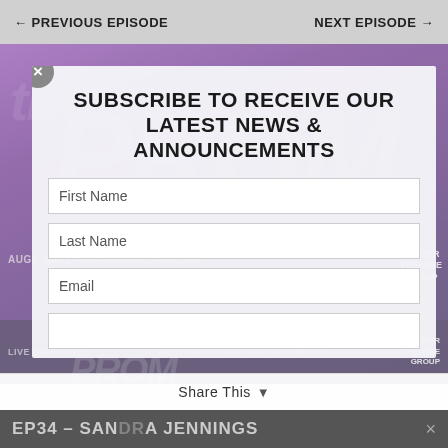← PREVIOUS EPISODE    NEXT EPISODE →
[Figure (screenshot): The Prom Broadway musical advertisement banner with purple gradient background, showing 'broadway's hit musical comedy LIVE ON STAGE!' text, 'AUG9-SEP1' dates, ahmansontheatre.org URL, and Center Theatre Group logo]
SUBSCRIBE TO RECEIVE OUR LATEST NEWS & ANNOUNCEMENTS
First Name
Last Name
Email
SUBSCRIBE!
EP34 – SANDRA JENNINGS    Share This    ×